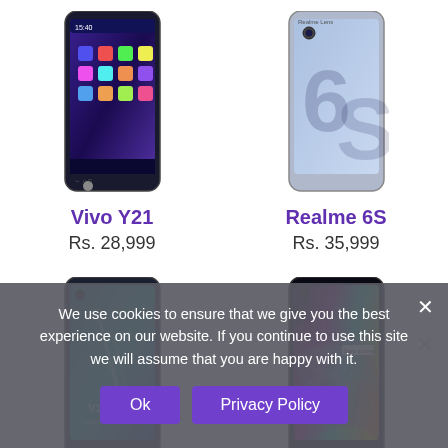[Figure (photo): Vivo Y21 smartphone product image]
Vivo Y21
Rs. 28,999
[Figure (photo): Realme 6S smartphone product image]
Realme 6S
Rs. 35,999
[Figure (photo): Vivo V17 smartphone product image]
Vivo V17
Rs. 59,000
[Figure (photo): Realme 8 smartphone product image]
Realme 8
Rs. 39,999
We use cookies to ensure that we give you the best experience on our website. If you continue to use this site we will assume that you are happy with it.
Ok
Privacy Policy